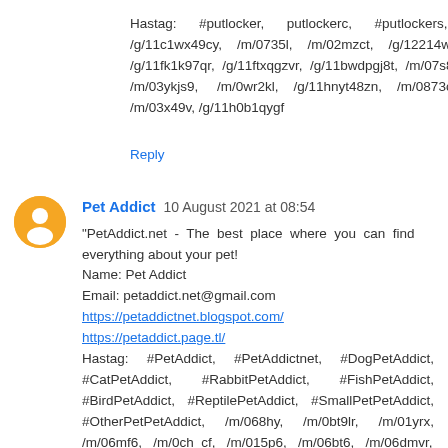Hastag: #putlocker, putlockerc, #putlockers, /g/11c1wx49cy, /m/0735l, /m/02mzct, /g/12214wvs, /g/11fk1k97qr, /g/11ftxqgzvr, /g/11bwdpgj8t, /m/07s8gcr, /m/03ykjs9, /m/0wr2kl, /g/11hnyt48zn, /m/0873c4, /m/03x49v, /g/11h0b1qygf
Reply
Pet Addict  10 August 2021 at 08:54
"PetAddict.net - The best place where you can find everything about your pet!
Name: Pet Addict
Email: petaddict.net@gmail.com
https://petaddictnet.blogspot.com/
https://petaddict.page.tl/
Hastag: #PetAddict, #PetAddictnet, #DogPetAddict, #CatPetAddict, #RabbitPetAddict, #FishPetAddict, #BirdPetAddict, #ReptilePetAddict, #SmallPetPetAddict, #OtherPetPetAddict, /m/068hy, /m/0bt9lr, /m/01yrx, /m/06mf6, /m/0ch_cf, /m/015p6, /m/06bt6, /m/06dmvr,